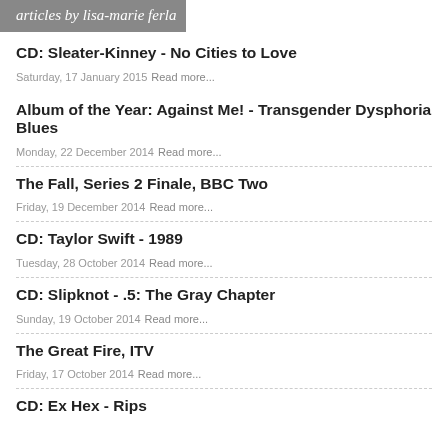articles by lisa-marie ferla
CD: Sleater-Kinney - No Cities to Love
Saturday, 17 January 2015  Read more...
Album of the Year: Against Me! - Transgender Dysphoria Blues
Monday, 22 December 2014  Read more...
The Fall, Series 2 Finale, BBC Two
Friday, 19 December 2014  Read more...
CD: Taylor Swift - 1989
Tuesday, 28 October 2014  Read more...
CD: Slipknot - .5: The Gray Chapter
Sunday, 19 October 2014  Read more...
The Great Fire, ITV
Friday, 17 October 2014  Read more...
CD: Ex Hex - Rips